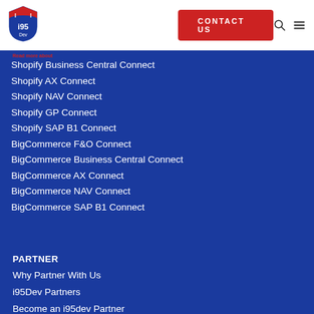[Figure (logo): i95Dev shield logo with red top and blue body]
Contact Us
Read more about
Shopify Business Central Connect
Shopify AX Connect
Shopify NAV Connect
Shopify GP Connect
Shopify SAP B1 Connect
BigCommerce F&O Connect
BigCommerce Business Central Connect
BigCommerce AX Connect
BigCommerce NAV Connect
BigCommerce SAP B1 Connect
PARTNER
Why Partner With Us
i95Dev Partners
Become an i95dev Partner